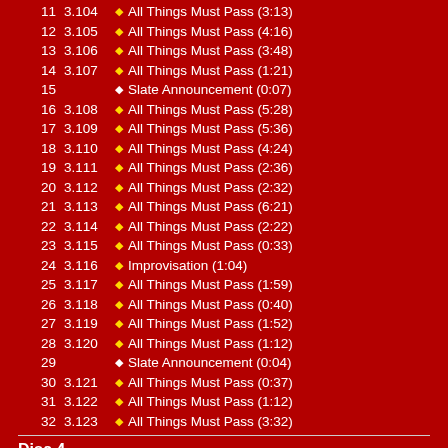11  3.104  ♦ All Things Must Pass (3:13)
12  3.105  ♦ All Things Must Pass (4:16)
13  3.106  ♦ All Things Must Pass (3:48)
14  3.107  ♦ All Things Must Pass (1:21)
15         ♦ Slate Announcement (0:07)
16  3.108  ♦ All Things Must Pass (5:28)
17  3.109  ♦ All Things Must Pass (5:36)
18  3.110  ♦ All Things Must Pass (4:24)
19  3.111  ♦ All Things Must Pass (2:36)
20  3.112  ♦ All Things Must Pass (2:32)
21  3.113  ♦ All Things Must Pass (6:21)
22  3.114  ♦ All Things Must Pass (2:22)
23  3.115  ♦ All Things Must Pass (0:33)
24  3.116  ♦ Improvisation (1:04)
25  3.117  ♦ All Things Must Pass (1:59)
26  3.118  ♦ All Things Must Pass (0:40)
27  3.119  ♦ All Things Must Pass (1:52)
28  3.120  ♦ All Things Must Pass (1:12)
29         ♦ Slate Announcement (0:04)
30  3.121  ♦ All Things Must Pass (0:37)
31  3.122  ♦ All Things Must Pass (1:12)
32  3.123  ♦ All Things Must Pass (3:32)
Disc 4